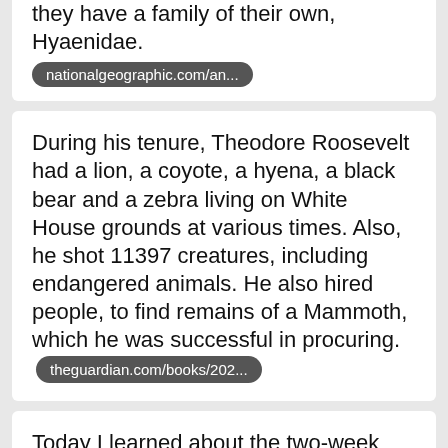they have a family of their own, Hyaenidae.
nationalgeographic.com/an...
During his tenure, Theodore Roosevelt had a lion, a coyote, a hyena, a black bear and a zebra living on White House grounds at various times. Also, he shot 11397 creatures, including endangered animals. He also hired people, to find remains of a Mammoth, which he was successful in procuring. theguardian.com/books/202...
Today I learned about the two-week long lion-hyena war over disputed territory in Ethiopia during 1999, where lions killed 35 hyenas and hyenas managed to kill six lions, with the lions eventually taking over the territory. news.bbc.co.uk/2/hi/afric...